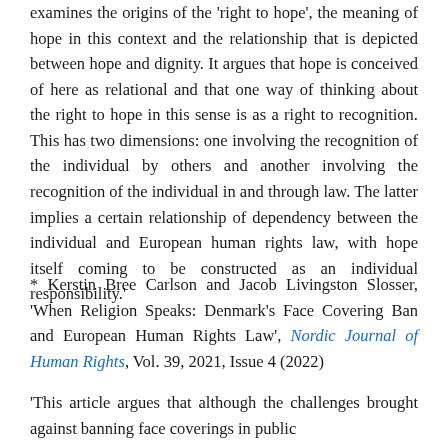examines the origins of the 'right to hope', the meaning of hope in this context and the relationship that is depicted between hope and dignity. It argues that hope is conceived of here as relational and that one way of thinking about the right to hope in this sense is as a right to recognition. This has two dimensions: one involving the recognition of the individual by others and another involving the recognition of the individual in and through law. The latter implies a certain relationship of dependency between the individual and European human rights law, with hope itself coming to be constructed as an individual responsibility.'
* Kerstin Bree Carlson and Jacob Livingston Slosser, 'When Religion Speaks: Denmark's Face Covering Ban and European Human Rights Law', Nordic Journal of Human Rights, Vol. 39, 2021, Issue 4 (2022)
'This article argues that although the challenges brought against banning face coverings in public